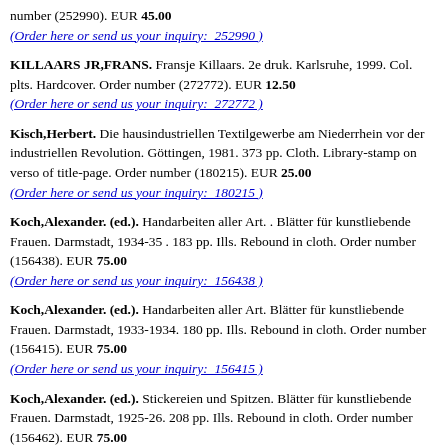number (252990). EUR 45.00
(Order here or send us your inquiry: 252990 )
KILLAARS JR,FRANS. Fransje Killaars. 2e druk. Karlsruhe, 1999. Col. plts. Hardcover. Order number (272772). EUR 12.50
(Order here or send us your inquiry: 272772 )
Kisch,Herbert. Die hausindustriellen Textilgewerbe am Niederrhein vor der industriellen Revolution. Göttingen, 1981. 373 pp. Cloth. Library-stamp on verso of title-page. Order number (180215). EUR 25.00
(Order here or send us your inquiry: 180215 )
Koch,Alexander. (ed.). Handarbeiten aller Art. . Blätter für kunstliebende Frauen. Darmstadt, 1934-35 . 183 pp. Ills. Rebound in cloth. Order number (156438). EUR 75.00
(Order here or send us your inquiry: 156438 )
Koch,Alexander. (ed.). Handarbeiten aller Art. Blätter für kunstliebende Frauen. Darmstadt, 1933-1934. 180 pp. Ills. Rebound in cloth. Order number (156415). EUR 75.00
(Order here or send us your inquiry: 156415 )
Koch,Alexander. (ed.). Stickereien und Spitzen. Blätter für kunstliebende Frauen. Darmstadt, 1925-26. 208 pp. Ills. Rebound in cloth. Order number (156462). EUR 75.00